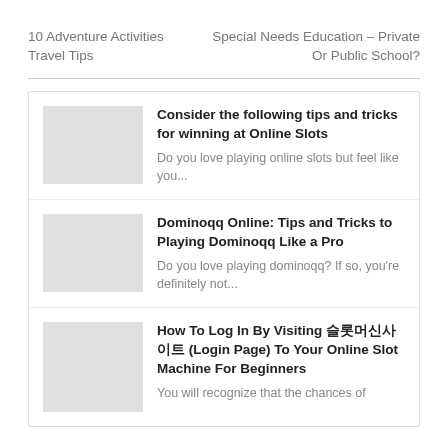10 Adventure Activities Travel Tips
Special Needs Education – Private Or Public School?
Consider the following tips and tricks for winning at Online Slots
Do you love playing online slots but feel like you...
Dominoqq Online: Tips and Tricks to Playing Dominoqq Like a Pro
Do you love playing dominoqq? If so, you're definitely not...
How To Log In By Visiting 슬롯머신사이트 (Login Page) To Your Online Slot Machine For Beginners
You will recognize that the chances of